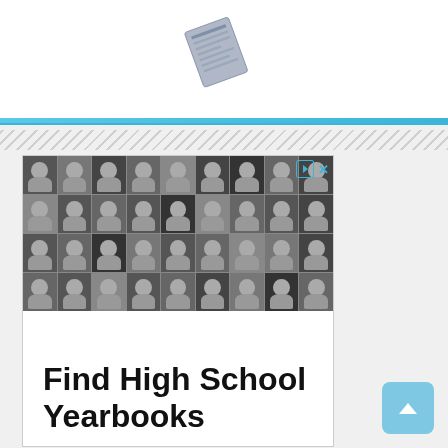[Figure (illustration): Newspaper/scroll icon at top of page, partially visible]
[Figure (photo): Advertisement showing a grid of black and white high school yearbook portrait photos with ad icons (play button and X close button) in upper right corner, followed by white space and text 'Find High School Yearbooks' in large bold font]